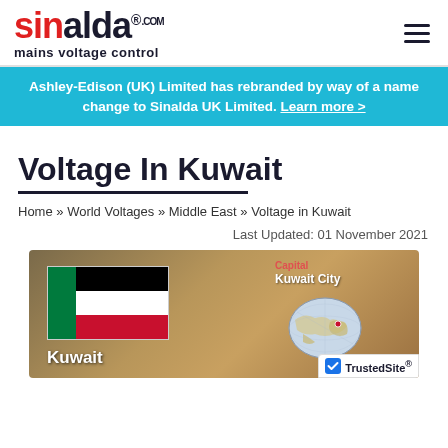[Figure (logo): Sinalda.com mains voltage control logo with red and black text]
Ashley-Edison (UK) Limited has rebranded by way of a name change to Sinalda UK Limited. Learn more >
Voltage In Kuwait
Home » World Voltages » Middle East » Voltage in Kuwait
Last Updated: 01 November 2021
[Figure (photo): Kuwait country image with flag, globe showing Kuwait City location, and TrustedSite badge. Shows Kuwait flag (green, black, white, red horizontal stripes with green vertical bar), globe with red dot marker, Capital: Kuwait City, Population label, and TrustedSite certification badge.]